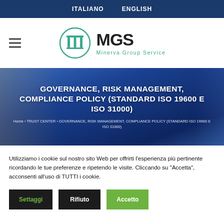ITALIANO   ENGLISH
[Figure (logo): MGS Minerva Group Service logo with circular column icon]
GOVERNANCE, RISK MANAGEMENT, COMPLIANCE POLICY (STANDARD ISO 19600 E ISO 31000)
Home › TRUST CENTER › GOVERNANCE, RISK MANAGEMENT, COMPLIANCE POLICY (STANDARD ISO 19600 E ISO 31000)
Utilizziamo i cookie sul nostro sito Web per offrirti l'esperienza più pertinente ricordando le tue preferenze e ripetendo le visite. Cliccando su "Accetta", acconsenti all'uso di TUTTI i cookie.
Settaggi
Rifiuto
Accetto